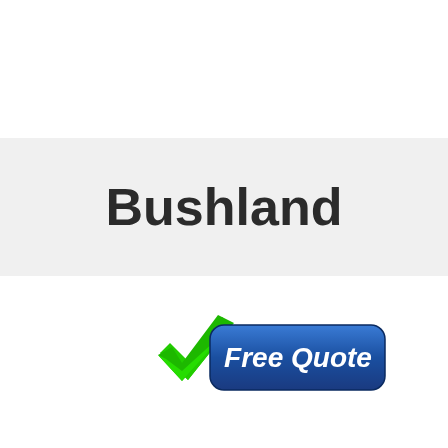Bushland
[Figure (logo): Green checkmark icon next to a blue rounded rectangle button with white text reading 'Free Quote']